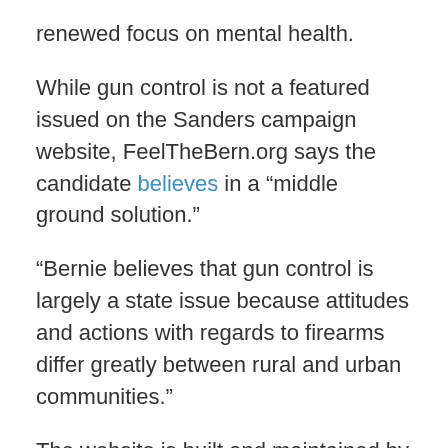renewed focus on mental health.
While gun control is not a featured issued on the Sanders campaign website, FeelTheBern.org says the candidate believes in a “middle ground solution.”
“Bernie believes that gun control is largely a state issue because attitudes and actions with regards to firearms differ greatly between rural and urban communities.”
The website is built and maintained by volunteers who have no official affiliation with Sanders.
By comparison, Clinton’s proposals are much more aggressive and she lays out her public record on the issue—as First Lady when she supported the Brady Bill and background checks, and as a U.S. Senator when she co-sponsored legislation to re-instate the assault weapons